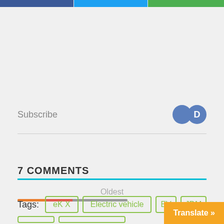[Figure (screenshot): Top social sharing bar with three colored segments: dark blue (Facebook), light blue (Twitter), green (WhatsApp/share)]
Subscribe
7 COMMENTS
Oldest
Tags: eK X  Electric vehicle  EV  JDM
Translate »